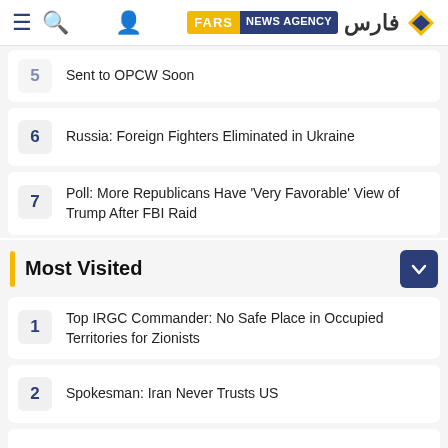FARS NEWS AGENCY
Sent to OPCW Soon
6  Russia: Foreign Fighters Eliminated in Ukraine
7  Poll: More Republicans Have 'Very Favorable' View of Trump After FBI Raid
Most Visited
1  Top IRGC Commander: No Safe Place in Occupied Territories for Zionists
2  Spokesman: Iran Never Trusts US
3  IRGC Commander Cautions Neighbors over Israeli Footholds in Persian Gulf
4  Iranian DM: Defense Equipment Production Rises by 125%